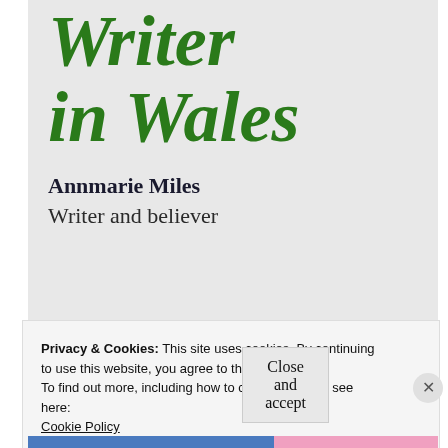Writer in Wales
Annmarie Miles
Writer and believer
Privacy & Cookies: This site uses cookies. By continuing to use this website, you agree to their use.
To find out more, including how to control cookies, see here:
Cookie Policy
Close and accept